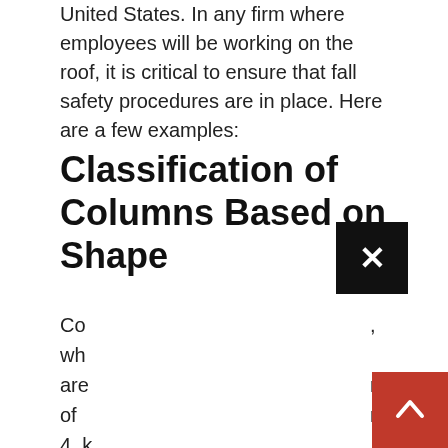United States. In any firm where employees will be working on the roof, it is critical to ensure that fall safety procedures are in place. Here are a few examples:
Classification of Columns Based on Shape
Co wh are nd of ng; 4. k inf is pro div Co